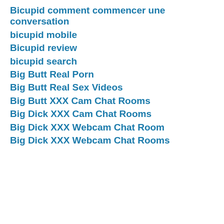Bicupid comment commencer une conversation
bicupid mobile
Bicupid review
bicupid search
Big Butt Real Porn
Big Butt Real Sex Videos
Big Butt XXX Cam Chat Rooms
Big Dick XXX Cam Chat Rooms
Big Dick XXX Webcam Chat Room
Big Dick XXX Webcam Chat Rooms